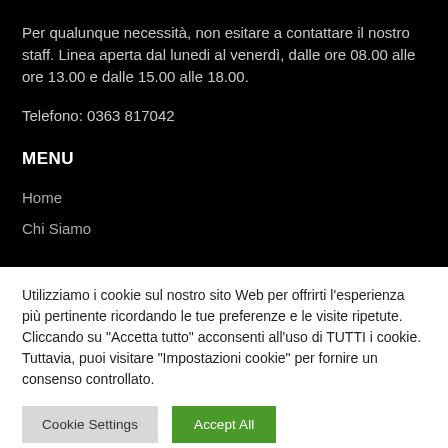Per qualunque necessità, non esitare a contattare il nostro staff. Linea aperta dal lunedi al venerdì, dalle ore 08.00 alle ore 13.00 e dalle 15.00 alle 18.00.
Telefono: 0363 817042
MENU
Home
Chi Siamo
Utilizziamo i cookie sul nostro sito Web per offrirti l'esperienza più pertinente ricordando le tue preferenze e le visite ripetute. Cliccando su "Accetta tutto" acconsenti all'uso di TUTTI i cookie. Tuttavia, puoi visitare "Impostazioni cookie" per fornire un consenso controllato.
Cookie Settings | Accept All